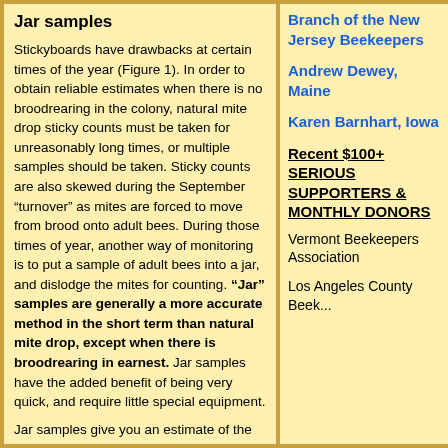Jar samples
Stickyboards have drawbacks at certain times of the year (Figure 1). In order to obtain reliable estimates when there is no broodrearing in the colony, natural mite drop sticky counts must be taken for unreasonably long times, or multiple samples should be taken. Sticky counts are also skewed during the September “turnover” as mites are forced to move from brood onto adult bees. During those times of year, another way of monitoring is to put a sample of adult bees into a jar, and dislodge the mites for counting. “Jar” samples are generally a more accurate method in the short term than natural mite drop, except when there is broodrearing in earnest. Jar samples have the added benefit of being very quick, and require little special equipment.
Jar samples give you an estimate of the percent mite infestation of the adult bees by phoretic mites (number of mites hitchhiking on a hundred bees). For example: if you obtain 3 mites from a 300-bee sample, you’d divide 3 by 300 to get the percent infestation—in this case 1%. The inherent weakness of jar samples is that...
Branch of the New Jersey Beekeepers
Andrew Dewey, Maine
Karen Barnhart, Iowa
Recent $100+ SERIOUS SUPPORTERS & MONTHLY DONORS
Vermont Beekeepers Association
Los Angeles County Beekeeper...